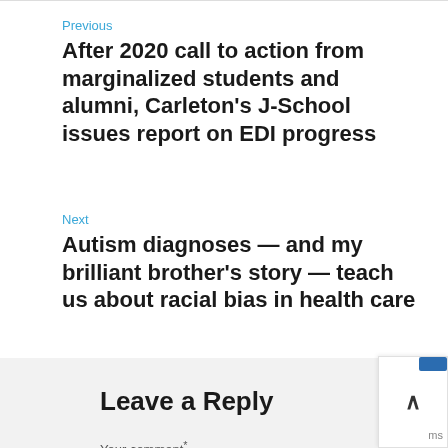Previous
After 2020 call to action from marginalized students and alumni, Carleton's J-School issues report on EDI progress
Next
Autism diagnoses — and my brilliant brother's story — teach us about racial bias in health care
Leave a Reply
Your comment*